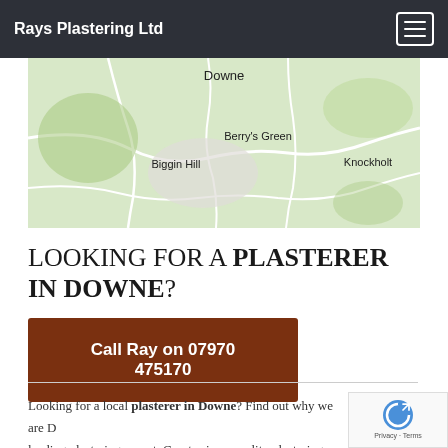Rays Plastering Ltd
[Figure (map): Google Maps view showing Downe, Berry's Green, Biggin Hill, and Knockholt areas with roads and green terrain.]
LOOKING FOR A PLASTERER IN DOWNE?
Call Ray on 07970 475170
Looking for a local plasterer in Downe? Find out why we are D leading plastering expert. Great prices, quality plastering servic friendly staff, alongside a fantastic reputation which we have ga